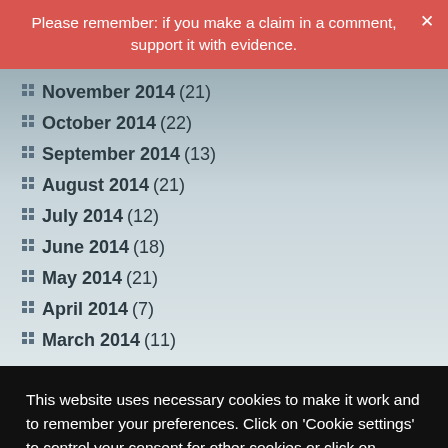Please remember: if you make a claim in a comment, support it with evidence.
November 2014 (21)
October 2014 (22)
September 2014 (13)
August 2014 (21)
July 2014 (12)
June 2014 (18)
May 2014 (21)
April 2014 (7)
March 2014 (11)
This website uses necessary cookies to make it work and to remember your preferences. Click on 'Cookie settings' to control your consent for other cookies or click on 'Accept all' to consent to the use of all cookies. By continuing to browse this website you are agreeing to our Privacy policy.
Accept all | Cookie settings | Privacy policy